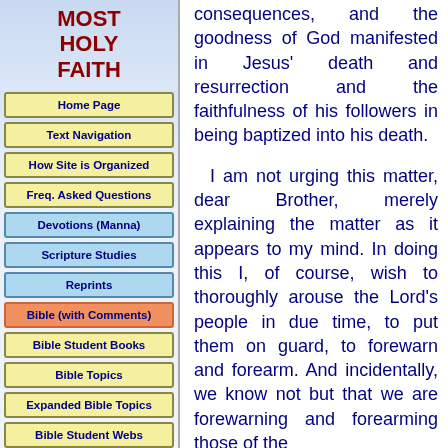MOST HOLY FAITH
Home Page
Text Navigation
How Site is Organized
Freq. Asked Questions
Devotions (Manna)
Scripture Studies
Reprints
Bible (with Comments)
Bible Student Books
Bible Topics
Expanded Bible Topics
Bible Student Webs
Miscellaneous
consequences, and the goodness of God manifested in Jesus' death and resurrection and the faithfulness of his followers in being baptized into his death.

I am not urging this matter, dear Brother, merely explaining the matter as it appears to my mind. In doing this I, of course, wish to thoroughly arouse the Lord's people in due time, to put them on guard, to forewarn and forearm. And incidentally, we know not but that we are forewarning and forearming those of the